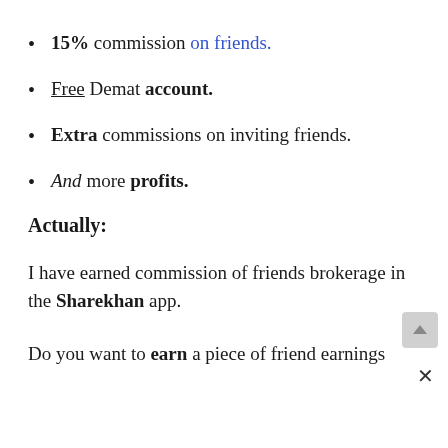15% commission on friends.
Free Demat account.
Extra commissions on inviting friends.
And more profits.
Actually:
I have earned commission of friends brokerage in the Sharekhan app.
Do you want to earn a piece of friend earnings